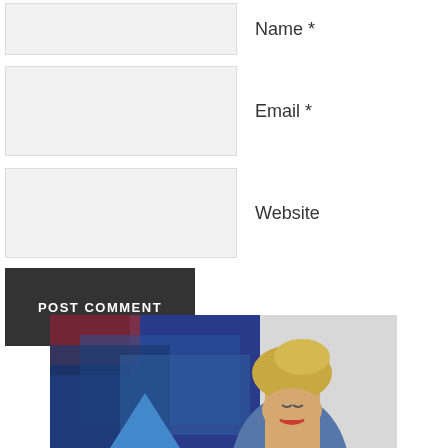Name *
Email *
Website
POST COMMENT
[Figure (photo): A blonde woman with short hair looking down, wearing a blue shirt, standing in front of an abstract colorful painting with blue and red hues, and a white/light gray wall on the right side.]